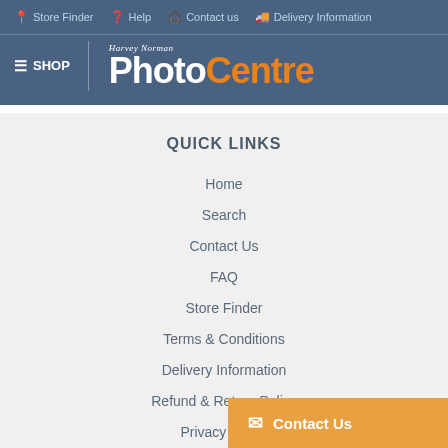Store Finder  Help  Contact us  Delivery Information
[Figure (logo): Harvey Norman PhotoCentre logo with hamburger SHOP menu on left and Harvey Norman PhotoCentre branding on right, white and orange text on blue background]
QUICK LINKS
Home
Search
Contact Us
FAQ
Store Finder
Terms & Conditions
Delivery Information
Refund & Return Policy
Privacy Policy